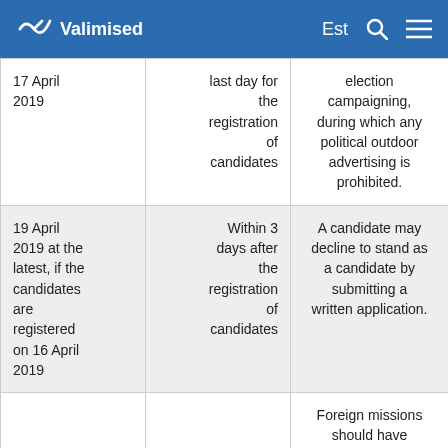Valimised  Est
| Date | Deadline/Event | Description |
| --- | --- | --- |
| 17 April 2019 | last day for the registration of candidates | election campaigning, during which any political outdoor advertising is prohibited. |
| 19 April 2019 at the latest, if the candidates are registered on 16 April 2019 | Within 3 days after the registration of candidates | A candidate may decline to stand as a candidate by submitting a written application. |
|  |  | Foreign missions should have |